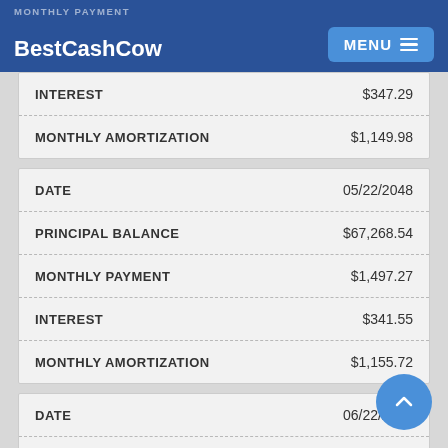BestCashCow — MONTHLY PAYMENT
| Field | Value |
| --- | --- |
| INTEREST | $347.29 |
| MONTHLY AMORTIZATION | $1,149.98 |
| Field | Value |
| --- | --- |
| DATE | 05/22/2048 |
| PRINCIPAL BALANCE | $67,268.54 |
| MONTHLY PAYMENT | $1,497.27 |
| INTEREST | $341.55 |
| MONTHLY AMORTIZATION | $1,155.72 |
| Field | Value |
| --- | --- |
| DATE | 06/22/2048 |
| PRINCIPAL BALANCE | $66,112.82 |
| MONTHLY PAYMENT | $1,497.27 |